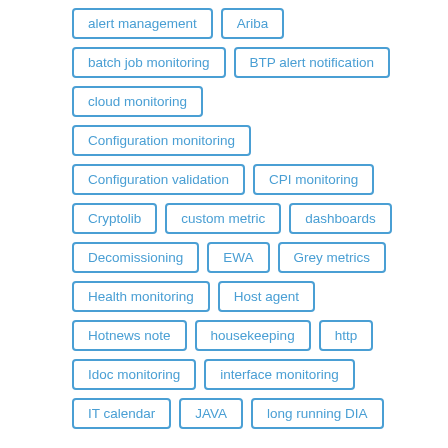alert management
Ariba
batch job monitoring
BTP alert notification
cloud monitoring
Configuration monitoring
Configuration validation
CPI monitoring
Cryptolib
custom metric
dashboards
Decomissioning
EWA
Grey metrics
Health monitoring
Host agent
Hotnews note
housekeeping
http
Idoc monitoring
interface monitoring
IT calendar
JAVA
long running DIA